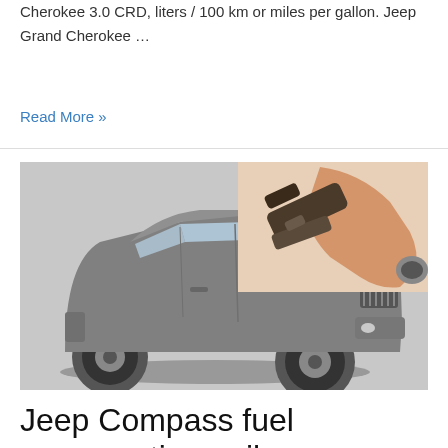Cherokee 3.0 CRD, liters / 100 km or miles per gallon. Jeep Grand Cherokee …
Read More »
[Figure (photo): Composite image: a gray Jeep Compass SUV photographed from the front-left angle, and overlaid in the upper-right corner a close-up photo of a hand holding a fuel pump nozzle inserting it into a car's fuel tank.]
Jeep Compass fuel consumption, miles per gallon